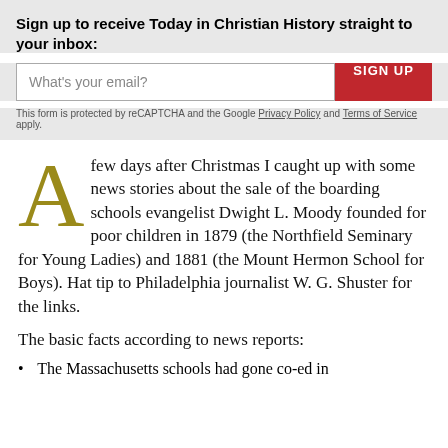Sign up to receive Today in Christian History straight to your inbox:
What's your email?
SIGN UP
This form is protected by reCAPTCHA and the Google Privacy Policy and Terms of Service apply.
A few days after Christmas I caught up with some news stories about the sale of the boarding schools evangelist Dwight L. Moody founded for poor children in 1879 (the Northfield Seminary for Young Ladies) and 1881 (the Mount Hermon School for Boys). Hat tip to Philadelphia journalist W. G. Shuster for the links.
The basic facts according to news reports:
The Massachusetts schools had gone co-ed in